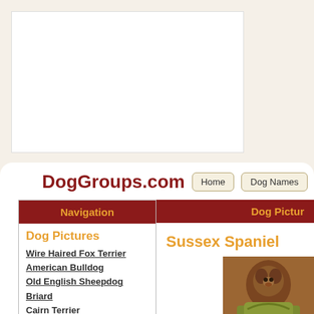[Figure (other): White advertisement box placeholder]
DogGroups.com
Navigation
Dog Pictures
Wire Haired Fox Terrier
American Bulldog
Old English Sheepdog
Briard
Cairn Terrier
Kerry Blue Terrier
Miniature Bull Terrier
Staffordshire Bull Terrier
Boxers
Afghan Hound
Dog Pictures
Sussex Spaniel
[Figure (photo): Photo of a Sussex Spaniel dog, brown colored, looking upward]